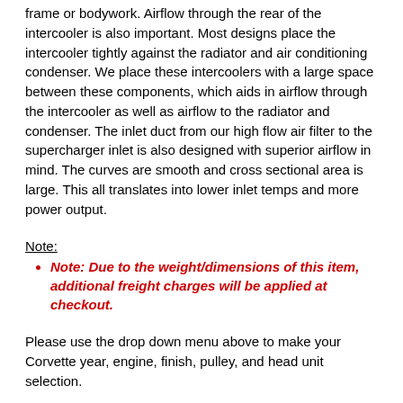frame or bodywork. Airflow through the rear of the intercooler is also important. Most designs place the intercooler tightly against the radiator and air conditioning condenser. We place these intercoolers with a large space between these components, which aids in airflow through the intercooler as well as airflow to the radiator and condenser. The inlet duct from our high flow air filter to the supercharger inlet is also designed with superior airflow in mind. The curves are smooth and cross sectional area is large. This all translates into lower inlet temps and more power output.
Note:
Note: Due to the weight/dimensions of this item, additional freight charges will be applied at checkout.
Please use the drop down menu above to make your Corvette year, engine, finish, pulley, and head unit selection.
This item does not qualify for free shipping.